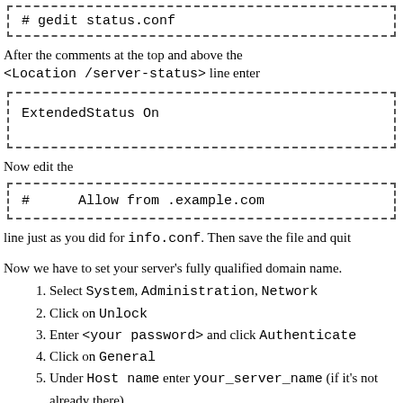# gedit status.conf
After the comments at the top and above the <Location /server-status> line enter
ExtendedStatus On
Now edit the
#      Allow from .example.com
line just as you did for info.conf. Then save the file and quit
Now we have to set your server's fully qualified domain name.
1. Select System, Administration, Network
2. Click on Unlock
3. Enter <your password> and click Authenticate
4. Click on General
5. Under Host name enter your_server_name (if it's not already there)